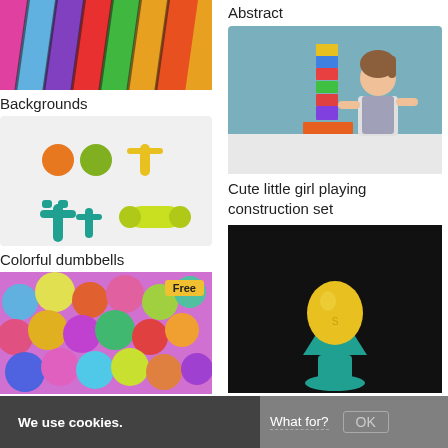[Figure (photo): Colorful crayons arranged diagonally, close-up view]
Backgrounds
[Figure (photo): Colorful dumbbells of different sizes on white background]
Colorful dumbbells
[Figure (photo): Colorful plastic balls in pink, yellow, green, purple. Free badge shown.]
Abstract
[Figure (photo): Cute little girl playing with colorful construction block set, smiling, teal background]
Cute little girl playing construction set
[Figure (photo): Yellow and teal toy stacked on black background]
We use cookies. What for? OK